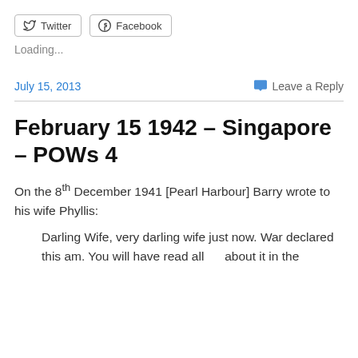[Figure (other): Twitter and Facebook social share buttons at the top of the page]
Loading...
July 15, 2013
Leave a Reply
February 15 1942 – Singapore – POWs 4
On the 8th December 1941 [Pearl Harbour] Barry wrote to his wife Phyllis:
Darling Wife, very darling wife just now. War declared this am. You will have read all    about it in the